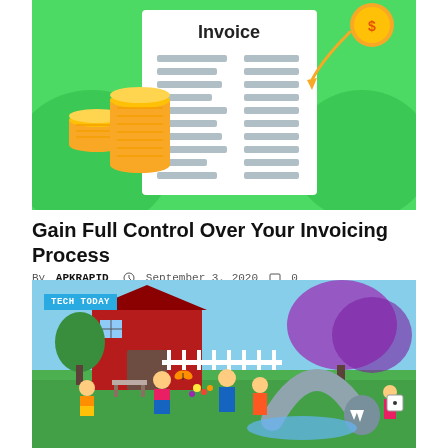[Figure (illustration): Invoice illustration on green background with stacked gold coins on left and a flying gold coin on upper right, white invoice document in center with gray line placeholders]
Gain Full Control Over Your Invoicing Process
By APKRAPID  September 3, 2020  0
[Figure (photo): The Sims 4 gameplay screenshot showing animated characters playing outdoors near a shark-themed water slide in a suburban backyard setting, with a TECH TODAY badge overlay in the top-left]